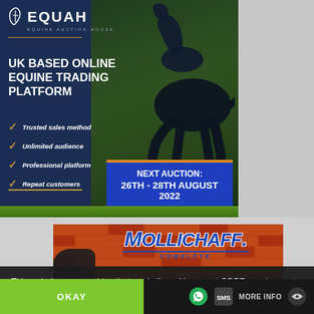[Figure (illustration): EQUAH (Equine Auction House) advertisement banner with dark blue background, black horse photo, checklist items, and next auction date. UK Based Online Equine Trading Platform.]
[Figure (illustration): Mollichaff Complete advertisement banner with brick wall background and blue logo text.]
This website uses cookies that are in line with current GDPR requirements
OKAY
MORE INFO